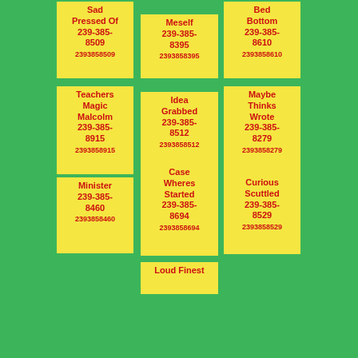Sad Pressed Of 239-385-8509 2393858509
Meself 239-385-8395 2393858395
Bed Bottom 239-385-8610 2393858610
Teachers Magic Malcolm 239-385-8915 2393858915
Idea Grabbed 239-385-8512 2393858512
Maybe Thinks Wrote 239-385-8279 2393858279
Minister 239-385-8460 2393858460
Case Wheres Started 239-385-8694 2393858694
Curious Scuttled 239-385-8529 2393858529
Loud Finest